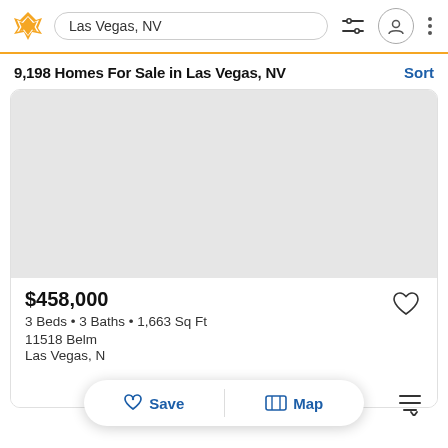Las Vegas, NV
9,198 Homes For Sale in Las Vegas, NV
Sort
[Figure (photo): Light gray placeholder image for a property listing photo]
$458,000
3 Beds • 3 Baths • 1,663 Sq Ft
11518 Belm
Las Vegas, N
Save
Map